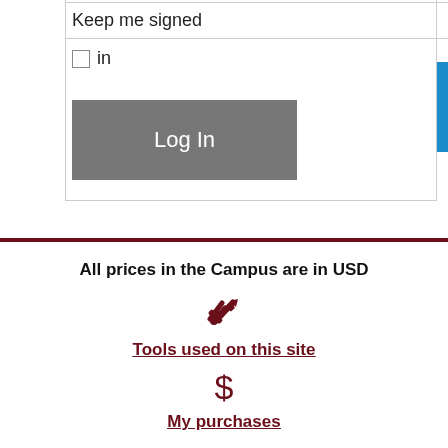Keep me signed in
Log In
All prices in the Campus are in USD
[Figure (illustration): Wrench/tools icon in dark red]
Tools used on this site
[Figure (illustration): Dollar sign icon in dark red]
My purchases